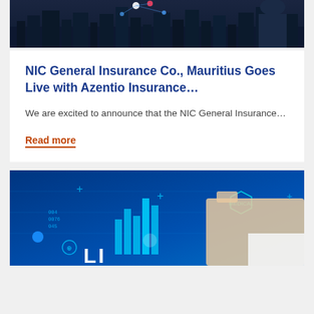[Figure (photo): Dark cityscape at night with network connectivity visual, person in background — top image of article card]
NIC General Insurance Co., Mauritius Goes Live with Azentio Insurance…
We are excited to announce that the NIC General Insurance…
Read more
[Figure (photo): Blue digital interface with insurance data icons, hand pointing at holographic screen — bottom image with partial LI/LIFE text visible]